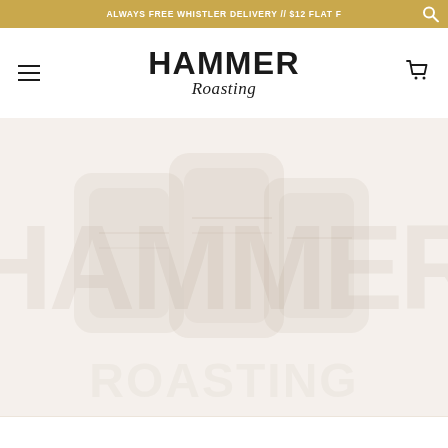ALWAYS FREE WHISTLER DELIVERY // $12 FLAT F
[Figure (logo): Hammer Roasting logo with bold uppercase HAMMER text and italic script Roasting below]
[Figure (photo): Faded/watermark style hero image area showing coffee product silhouettes on a light warm background]